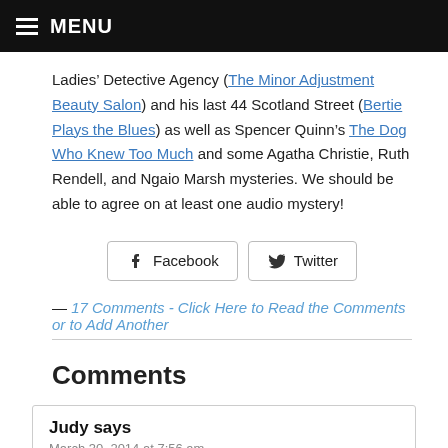MENU
Ladies' Detective Agency (The Minor Adjustment Beauty Salon) and his last 44 Scotland Street (Bertie Plays the Blues) as well as Spencer Quinn's The Dog Who Knew Too Much and some Agatha Christie, Ruth Rendell, and Ngaio Marsh mysteries. We should be able to agree on at least one audio mystery!
[Figure (other): Social share buttons: Facebook and Twitter]
— 17 Comments - Click Here to Read the Comments or to Add Another
Comments
Judy says
March 30, 2014 at 7:56 am